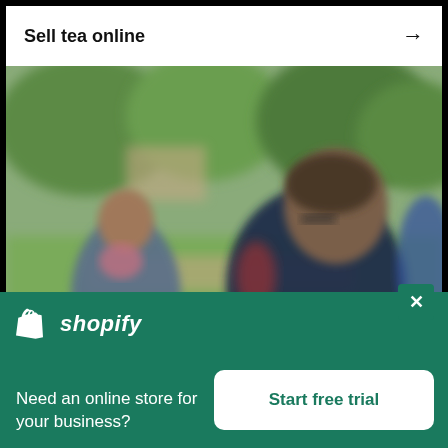Sell tea online →
[Figure (photo): Blurred outdoor photo of two people (a child and a bearded man wearing glasses) sitting in a park with green trees and foliage in the background]
[Figure (logo): Shopify logo with shopping bag icon and italic 'shopify' text in white on green background]
Need an online store for your business?
Start free trial